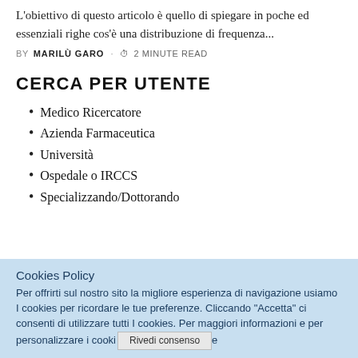L'obiettivo di questo articolo è quello di spiegare in poche ed essenziali righe cos'è una distribuzione di frequenza...
BY MARILÙ GARO · ⏱ 2 MINUTE READ
CERCA PER UTENTE
Medico Ricercatore
Azienda Farmaceutica
Università
Ospedale o IRCCS
Specializzando/Dottorando
Cookies Policy
Per offrirti sul nostro sito la migliore esperienza di navigazione usiamo I cookies per ricordare le tue preferenze. Cliccando "Accetta" ci consenti di utilizzare tutti I cookies. Per maggiori informazioni e per personalizzare i cooki... Rivedi consenso ...e